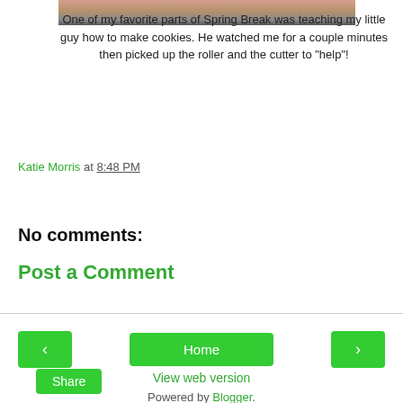[Figure (photo): Partial view of a photo showing what appears to be cookie dough or baking scene, cropped at top]
One of my favorite parts of Spring Break was teaching my little guy how to make cookies. He watched me for a couple minutes then picked up the roller and the cutter to "help"!
Katie Morris at 8:48 PM
Share
No comments:
Post a Comment
Home
View web version
Powered by Blogger.